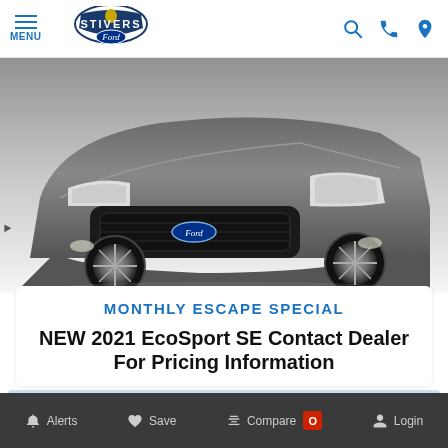MENU | Stivers Ford logo | Search, Phone, Location icons
[Figure (photo): Front view of a gray 2021 Ford Escape SUV on white background]
MONTHLY ESCAPE SPECIAL
NEW 2021 EcoSport SE Contact Dealer For Pricing Information
See dealer for details
Alerts | Save | Compare 0 | Login